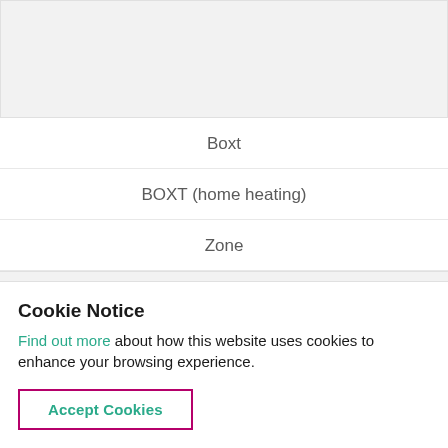[Figure (screenshot): Gray block representing a content area at the top of the page]
Boxt
BOXT (home heating)
Zone
[Figure (screenshot): Gray block with partially visible text: BURST sonic oral care for everyone]
Cookie Notice
Find out more about how this website uses cookies to enhance your browsing experience.
Accept Cookies